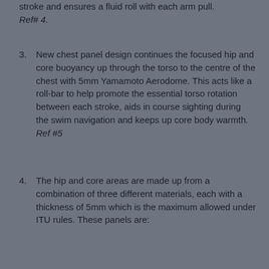stroke and ensures a fluid roll with each arm pull. Ref# 4.
3. New chest panel design continues the focused hip and core buoyancy up through the torso to the centre of the chest with 5mm Yamamoto Aerodome. This acts like a roll-bar to help promote the essential torso rotation between each stroke, aids in course sighting during the swim navigation and keeps up core body warmth. Ref #5
4. The hip and core areas are made up from a combination of three different materials, each with a thickness of 5mm which is the maximum allowed under ITU rules. These panels are: